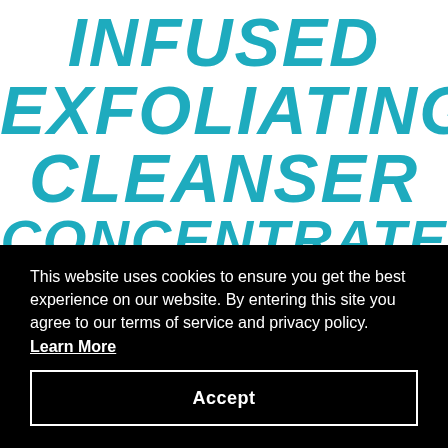INFUSED EXFOLIATING CLEANSER CONCENTRATE
This website uses cookies to ensure you get the best experience on our website. By entering this site you agree to our terms of service and privacy policy. Learn More
Accept